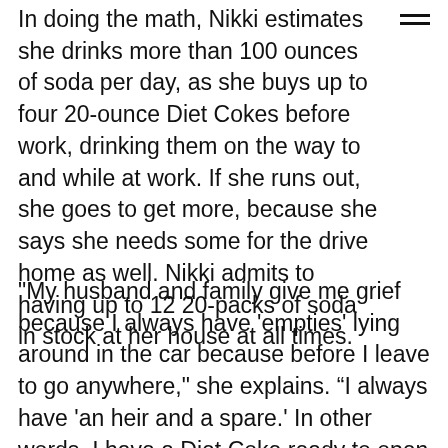In doing the math, Nikki estimates she drinks more than 100 ounces of soda per day, as she buys up to four 20-ounce Diet Cokes before work, drinking them on the way to and while at work. If she runs out, she goes to get more, because she says she needs some for the drive home as well. Nikki admits to having up to 12 20-packs of soda in stock at her house at all times.
"My husband and family give me grief because I always have 'empties' lying around in the car because before I leave to go anywhere," she explains. “I always have 'an heir and a spare.' In other words, I have a Diet Coke ready to open and another one with me in case there aren't any wherever we are going."